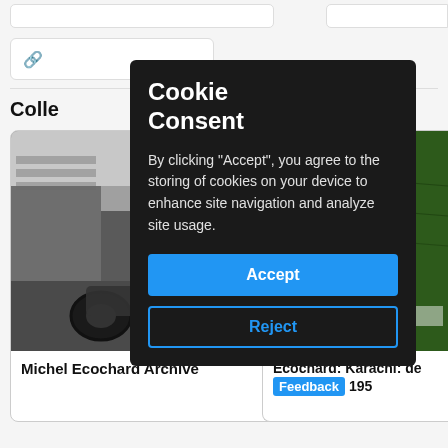Colle
[Figure (photo): Black and white photo of a street scene with a motorcycle and stone ruins]
Michel Ecochard Archive
[Figure (photo): Green-tinted architectural map/document with text 'Karachi M (Écocha']
Écochard: Karachi: de 195
Cookie Consent
By clicking "Accept", you agree to the storing of cookies on your device to enhance site navigation and analyze site usage.
Accept
Reject
Feedback